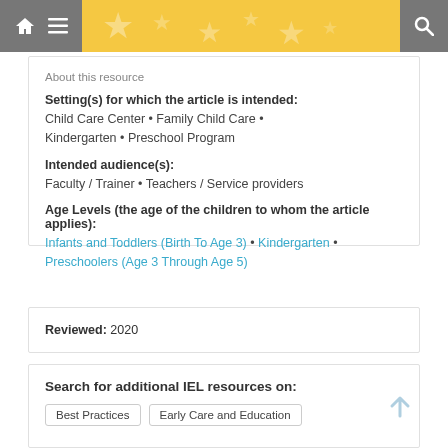About this resource
Setting(s) for which the article is intended:
Child Care Center • Family Child Care •
Kindergarten • Preschool Program
Intended audience(s):
Faculty / Trainer • Teachers / Service providers
Age Levels (the age of the children to whom the article applies):
Infants and Toddlers (Birth To Age 3) • Kindergarten •
Preschoolers (Age 3 Through Age 5)
Reviewed: 2020
Search for additional IEL resources on:
Best Practices
Early Care and Education